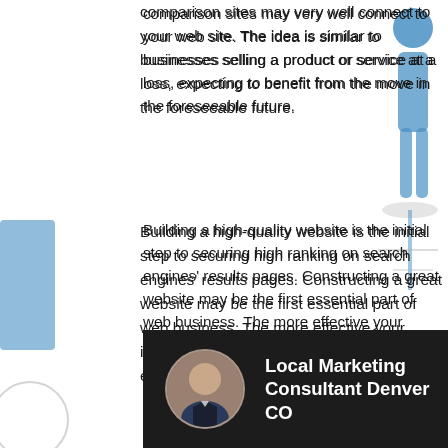comparison sites may very well connect to your web site. The idea is similar to businesses selling a product or service at a loss, expecting to benefit from the move in the foreseeable future.
[Figure (illustration): Blue 3D person figure standing on the right side of the page, decorative background element]
[Figure (illustration): Blue 3D geometric shapes on the left side of the page, decorative background element]
Building a high-quality website is the initial step to securing high ranking on search engines' results pages. Constructing a great website may be the first essential part of web business. The more effective your internet site looks and processes, the less effort it takes to maintain.
To trick people into clicking on ads, build a discreet image that links to a page describing the merchandise you will be selling.
[Figure (screenshot): Video banner with dark background showing a man in a suit (avatar/profile photo) and text 'Local Marketing Consultant Denver CO']